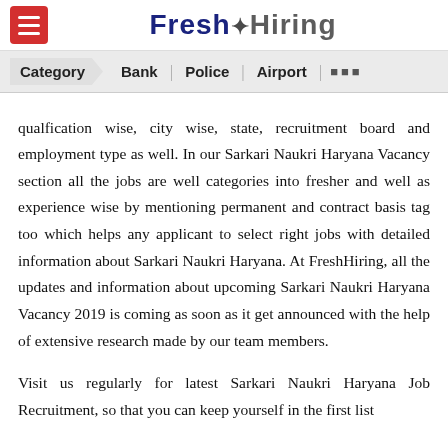Fresh Hiring
Category | Bank | Police | Airport | ...
qualfication wise, city wise, state, recruitment board and employment type as well. In our Sarkari Naukri Haryana Vacancy section all the jobs are well categories into fresher and well as experience wise by mentioning permanent and contract basis tag too which helps any applicant to select right jobs with detailed information about Sarkari Naukri Haryana. At FreshHiring, all the updates and information about upcoming Sarkari Naukri Haryana Vacancy 2019 is coming as soon as it get announced with the help of extensive research made by our team members.
Visit us regularly for latest Sarkari Naukri Haryana Job Recruitment, so that you can keep yourself in the first list